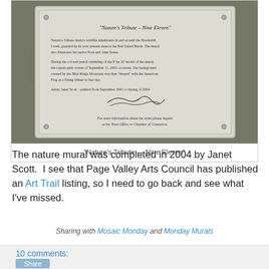[Figure (photo): A photograph of a metal plaque reading 'Nature's Tribute – Nine Eleven' with descriptive text about the mural, an artist's signature, and contact information.]
"Nature's Tribute — Nine Eleven"
The nature mural was completed in 2004 by Janet Scott.  I see that Page Valley Arts Council has published an Art Trail listing, so I need to go back and see what I've missed.
Sharing with Mosaic Monday and Monday Murals
10 comments: